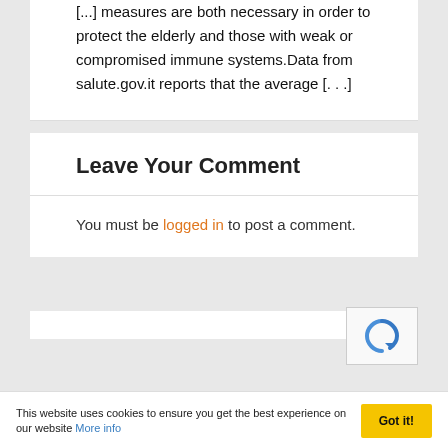[...] measures are both necessary in order to protect the elderly and those with weak or compromised immune systems. Data from salute.gov.it reports that the average [...]
Leave Your Comment
You must be logged in to post a comment.
This website uses cookies to ensure you get the best experience on our website More info